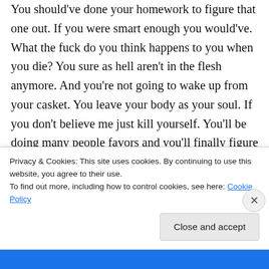You should've done your homework to figure that one out. If you were smart enough you would've. What the fuck do you think happens to you when you die? You sure as hell aren't in the flesh anymore. And you're not going to wake up from your casket. You leave your body as your soul. If you don't believe me just kill yourself. You'll be doing many people favors and you'll finally figure out the truth. Ghosts can most definitely be real. It's the people with fake eyes and ears that can't figure it out.
Privacy & Cookies: This site uses cookies. By continuing to use this website, you agree to their use.
To find out more, including how to control cookies, see here: Cookie Policy
Close and accept